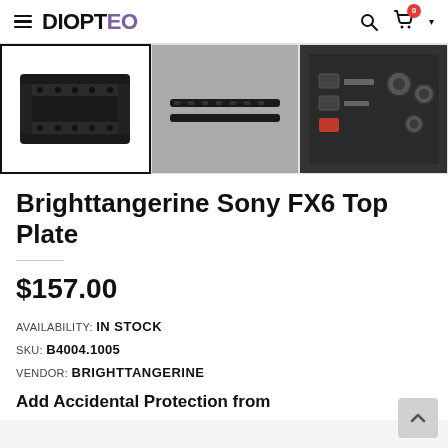DIOPTEO
[Figure (photo): Three product thumbnail images of the Brighttangerine Sony FX6 Top Plate: first shows the full top plate bracket (black, selected/outlined), second shows two rails/bars, third shows close-up of camera connectors and dials.]
Brighttangerine Sony FX6 Top Plate
$157.00
AVAILABILITY: IN STOCK
SKU: B4004.1005
VENDOR: BRIGHTTANGERINE
Add Accidental Protection from